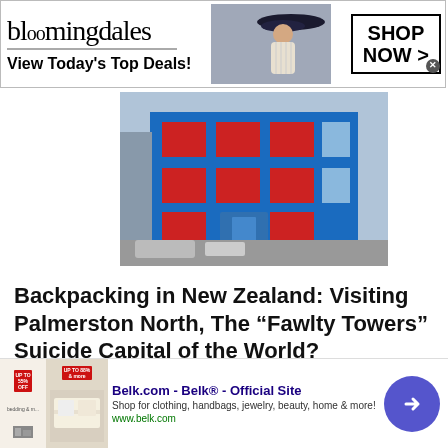[Figure (other): Bloomingdales advertisement banner: logo, 'View Today's Top Deals!' tagline, fashion model photo, and 'SHOP NOW >' button]
[Figure (photo): Colorful blue and red building exterior, a backpacker hostel in Palmerston North, New Zealand]
Backpacking in New Zealand: Visiting Palmerston North, The “Fawlty Towers” Suicide Capital of the World?
Posted on November 18, 2010
[Figure (other): Belk.com advertisement: 'Belk.com - Belk® - Official Site', 'Shop for clothing, handbags, jewelry, beauty, home & more!', 'www.belk.com', with product images and navigation arrow]